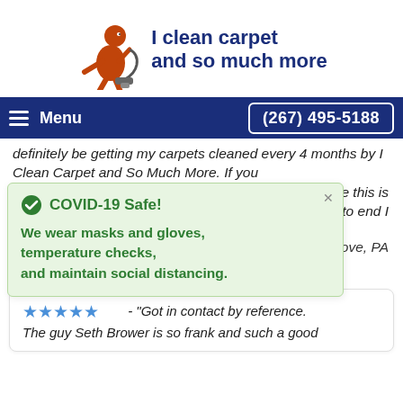[Figure (logo): I Clean Carpet and So Much More logo with orange figure using vacuum cleaner and dark blue text]
Menu  (267) 495-5188
definitely be getting my carpets cleaned every 4 months by I Clean Carpet and So Much More. If you
COVID-19 Safe! We wear masks and gloves, temperature checks, and maintain social distancing.
xperience this is beginning to end I
v Grove, PA
★★★★★ - "Got in contact by reference. The guy Seth Brower is so frank and such a good